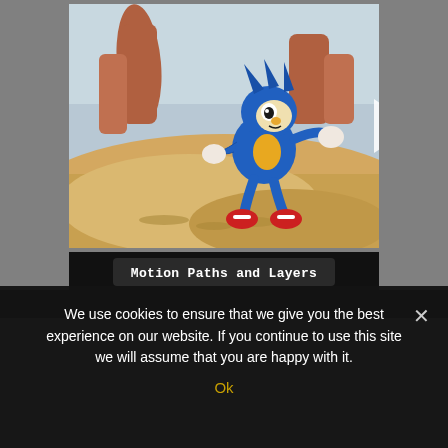[Figure (screenshot): Video thumbnail showing Sonic the Hedgehog cartoon character running in a desert canyon landscape with red rock formations, overlaid with a white play button triangle in the center.]
Motion Paths and Layers
We use cookies to ensure that we give you the best experience on our website. If you continue to use this site we will assume that you are happy with it.
Ok